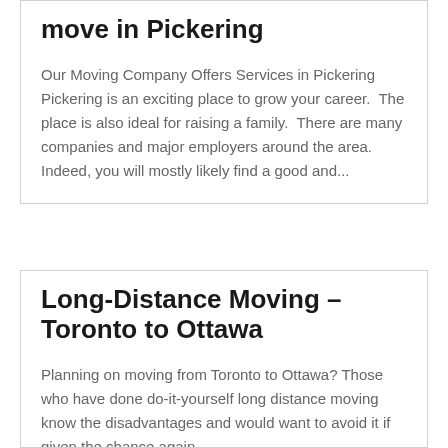move in Pickering
Our Moving Company Offers Services in Pickering Pickering is an exciting place to grow your career.  The place is also ideal for raising a family.  There are many companies and major employers around the area.  Indeed, you will mostly likely find a good and...
Long-Distance Moving – Toronto to Ottawa
Planning on moving from Toronto to Ottawa?  Those who have done do-it-yourself long distance moving know the disadvantages and would want to avoid it if given the chance again.